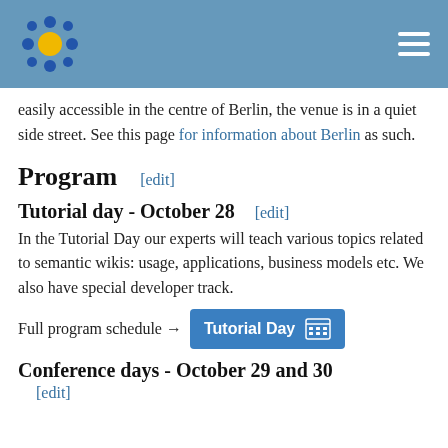[Logo and navigation header bar]
easily accessible in the centre of Berlin, the venue is in a quiet side street. See this page for information about Berlin as such.
Program [edit]
Tutorial day - October 28 [edit]
In the Tutorial Day our experts will teach various topics related to semantic wikis: usage, applications, business models etc. We also have special developer track.
Full program schedule → Tutorial Day
Conference days - October 29 and 30
[edit]